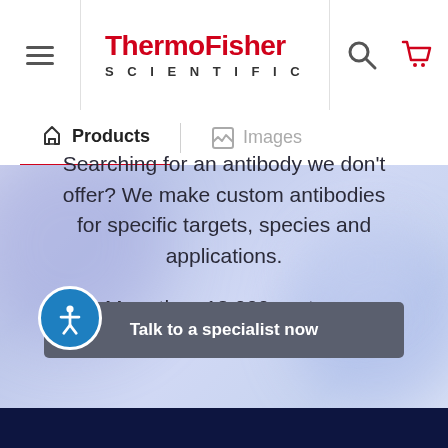ThermoFisher SCIENTIFIC
Products   Images
Searching for an antibody we don't offer? We make custom antibodies for specific targets, species and applications.

More than 18,000 custom antibodies created so far.
Talk to a specialist now